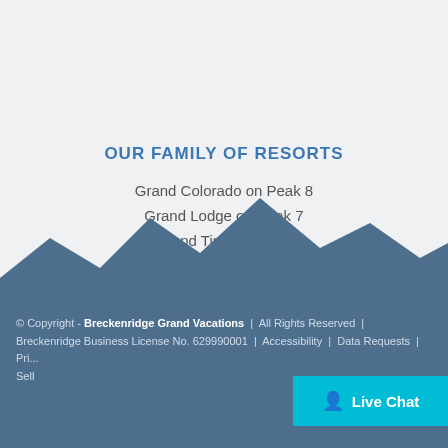OUR FAMILY OF RESORTS
Grand Colorado on Peak 8
Grand Lodge on Peak 7
Grand Timber Lodge
[Figure (illustration): Mountain silhouette graphic in muted blue-grey color]
© Copyright - Breckenridge Grand Vacations | All Rights Reserved | Breckenridge Business License No. 629990001 | Accessibility | Data Requests | Pri... Sell